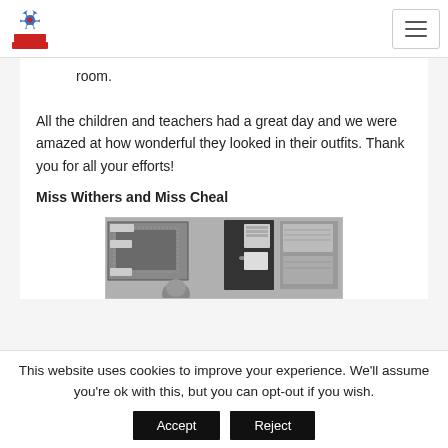[School logo] [Hamburger menu button]
room.
All the children and teachers had a great day and we were amazed at how wonderful they looked in their outfits. Thank you for all your efforts!
Miss Withers and Miss Cheal
[Figure (photo): Black and white photograph of a classroom interior showing a bulletin board, dark door, and a student in the foreground.]
This website uses cookies to improve your experience. We'll assume you're ok with this, but you can opt-out if you wish.